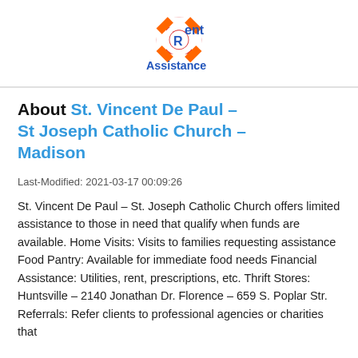[Figure (logo): Rent Assistance logo with life preserver ring and blue bold text reading 'Rent Assistance']
About St. Vincent De Paul – St Joseph Catholic Church – Madison
Last-Modified: 2021-03-17 00:09:26
St. Vincent De Paul – St. Joseph Catholic Church offers limited assistance to those in need that qualify when funds are available. Home Visits: Visits to families requesting assistance Food Pantry: Available for immediate food needs Financial Assistance: Utilities, rent, prescriptions, etc. Thrift Stores: Huntsville – 2140 Jonathan Dr. Florence – 659 S. Poplar Str. Referrals: Refer clients to professional agencies or charities that